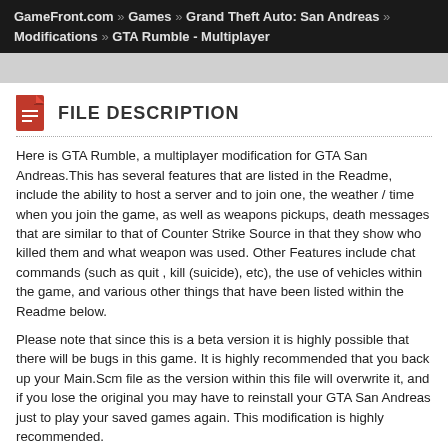GameFront.com » Games » Grand Theft Auto: San Andreas » Modifications » GTA Rumble - Multiplayer
FILE DESCRIPTION
Here is GTA Rumble, a multiplayer modification for GTA San Andreas.This has several features that are listed in the Readme, include the ability to host a server and to join one, the weather / time when you join the game, as well as weapons pickups, death messages that are similar to that of Counter Strike Source in that they show who killed them and what weapon was used. Other Features include chat commands (such as quit , kill (suicide), etc), the use of vehicles within the game, and various other things that have been listed within the Readme below.
Please note that since this is a beta version it is highly possible that there will be bugs in this game. It is highly recommended that you back up your Main.Scm file as the version within this file will overwrite it, and if you lose the original you may have to reinstall your GTA San Andreas just to play your saved games again. This modification is highly recommended.
Download 'gtarumble.rar' (3.25MB)